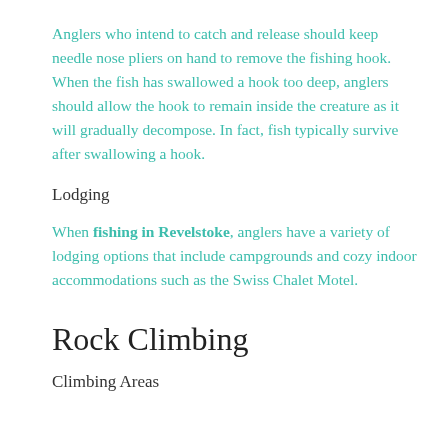Anglers who intend to catch and release should keep needle nose pliers on hand to remove the fishing hook. When the fish has swallowed a hook too deep, anglers should allow the hook to remain inside the creature as it will gradually decompose. In fact, fish typically survive after swallowing a hook.
Lodging
When fishing in Revelstoke, anglers have a variety of lodging options that include campgrounds and cozy indoor accommodations such as the Swiss Chalet Motel.
Rock Climbing
Climbing Areas